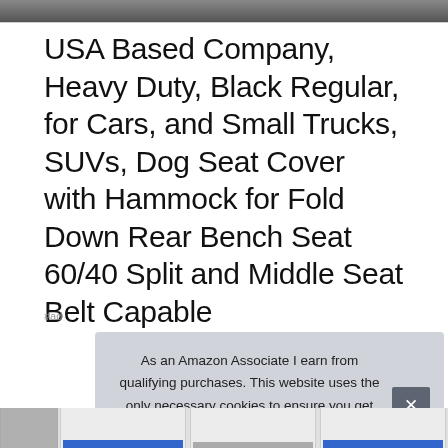[Figure (photo): Partial top edge of a product photo showing a dark/grey image strip at the top of the page]
USA Based Company, Heavy Duty, Black Regular, for Cars, and Small Trucks, SUVs, Dog Seat Cover with Hammock for Fold Down Rear Bench Seat 60/40 Split and Middle Seat Belt Capable
#ad
As an Amazon Associate I earn from qualifying purchases. This website uses the only necessary cookies to ensure you get the best experience on our website. More information
[Figure (screenshot): Bottom strip showing partial product listing thumbnails]